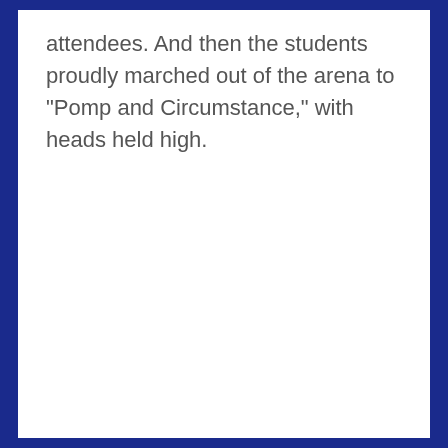attendees.  And then the students proudly marched out of the arena to "Pomp and Circumstance," with heads held high.